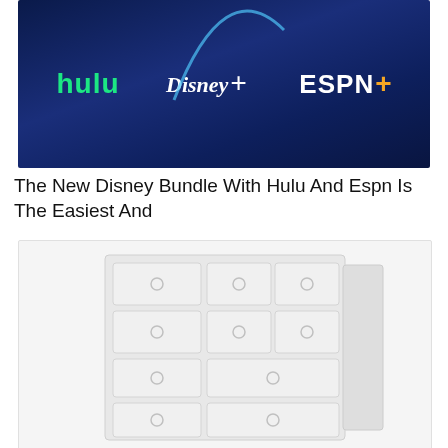[Figure (illustration): Disney Bundle promotional banner showing Hulu (green text), Disney+ (white stylized text with arc), and ESPN+ (white and yellow text) logos on a dark blue gradient background]
The New Disney Bundle With Hulu And Espn Is The Easiest And
[Figure (illustration): White dresser with multiple drawers, each having circular handles, on a light/white background]